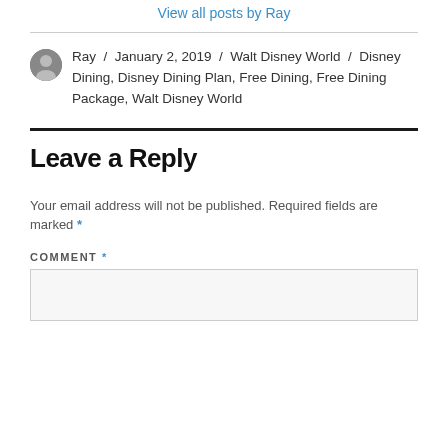View all posts by Ray
Ray / January 2, 2019 / Walt Disney World / Disney Dining, Disney Dining Plan, Free Dining, Free Dining Package, Walt Disney World
Leave a Reply
Your email address will not be published. Required fields are marked *
COMMENT *